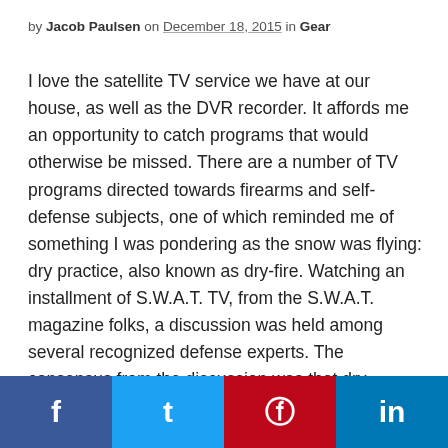by Jacob Paulsen on December 18, 2015 in Gear
I love the satellite TV service we have at our house, as well as the DVR recorder. It affords me an opportunity to catch programs that would otherwise be missed. There are a number of TV programs directed towards firearms and self-defense subjects, one of which reminded me of something I was pondering as the snow was flying: dry practice, also known as dry-fire. Watching an installment of S.W.A.T. TV, from the S.W.A.T. magazine folks, a discussion was held among several recognized defense experts. The consensus from the discussion was that dry practice is extremely valuable in learning fundamentals, but does not replace live fire. It was noted that the increasing cost of ammunition and ranges that, due to liability concerns, do not allow certain training exercises has led to more people doing dry practice. Weather can also be a concern as we found with our weird and wild Utah weather
f  t  p  in